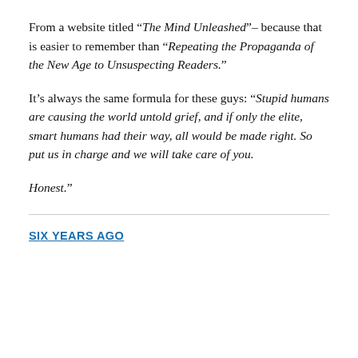From a website titled “The Mind Unleashed”– because that is easier to remember than “Repeating the Propaganda of the New Age to Unsuspecting Readers.”
It’s always the same formula for these guys: “Stupid humans are causing the world untold grief, and if only the elite, smart humans had their way, all would be made right. So put us in charge and we will take care of you.
Honest.”
SIX YEARS AGO